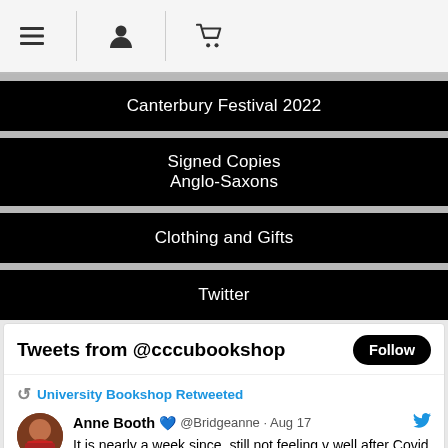Navigation bar with menu, account, and cart icons
Canterbury Festival 2022
Signed Copies
Anglo-Saxons
Clothing and Gifts
Twitter
Tweets from @cccubookshop
University Bookshop Retweeted
Anne Booth 💙 @Bridgeanne · Aug 17
It is nearly a week since, still not feeling v well after Covid (but testing negative, I hasten to say!) I had a v gentle first trip out & went to